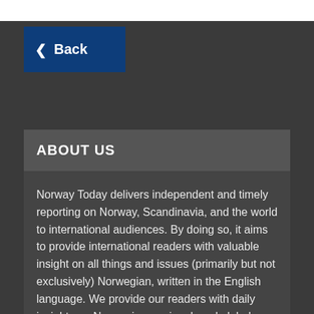Back
ABOUT US
Norway Today delivers independent and timely reporting on Norway, Scandinavia, and the world to international audiences. By doing so, it aims to provide international readers with valuable insight on all things and issues (primarily but not exclusively) Norwegian, written in the English language. We provide our readers with daily insights on Norwegian, regional, and global politics, business, society, and entertainment.